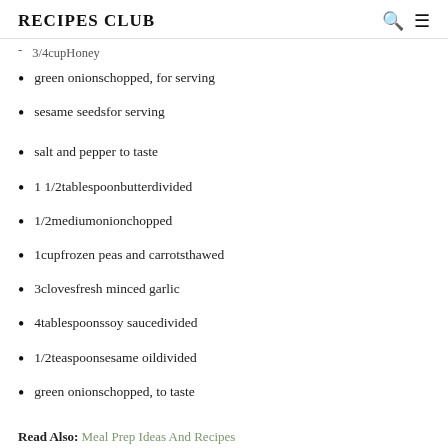RECIPES CLUB
3/4cupHoney
green onionschopped, for serving
sesame seedsfor serving
salt and pepper to taste
1 1/2tablespoonbutterdivided
1/2mediumonionchopped
1cupfrozen peas and carrotsthawed
3clovesfresh minced garlic
4tablespoonssoy saucedivided
1/2teaspoonsesame oildivided
green onionschopped, to taste
Read Also: Meal Prep Ideas And Recipes